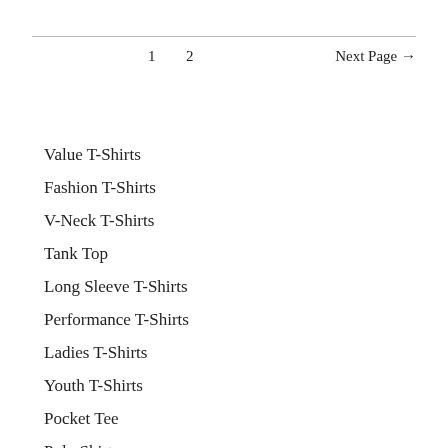1   2   Next Page →
Value T-Shirts
Fashion T-Shirts
V-Neck T-Shirts
Tank Top
Long Sleeve T-Shirts
Performance T-Shirts
Ladies T-Shirts
Youth T-Shirts
Pocket Tee
Polo Shirts